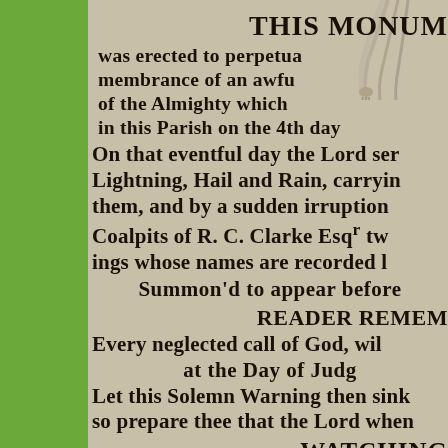[Figure (photo): Photograph of a stone monument inscription, partially cropped on the right side, with green foliage visible on the left side of the frame. The stone bears bold engraved text about a monument erected to perpetuate memory of an awful act of the Almighty, describing Lightning, Hail and Rain, and the Coalpits of R.C. Clarke Esqr, with religious exhortations to the Reader to remember God's calls and prepare for Judgement.]